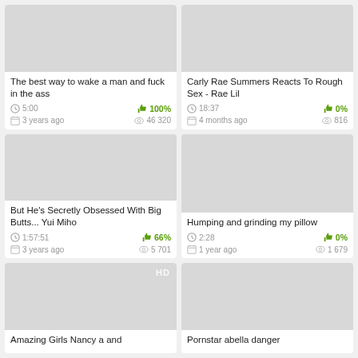[Figure (screenshot): Video thumbnail placeholder (grey)]
The best way to wake a man and fuck in the ass
5:00   100%   3 years ago   46 320
[Figure (screenshot): Video thumbnail placeholder (grey)]
Carly Rae Summers Reacts To Rough Sex - Rae Lil
18:37   0%   4 months ago   816
[Figure (screenshot): Video thumbnail placeholder (grey)]
But He's Secretly Obsessed With Big Butts... Yui Miho
1:57:51   66%   3 years ago   5 701
[Figure (screenshot): Video thumbnail placeholder (grey)]
Humping and grinding my pillow
2:28   0%   1 year ago   1 679
[Figure (screenshot): Video thumbnail placeholder (grey) with HD badge]
Amazing Girls Nancy a and
[Figure (screenshot): Video thumbnail placeholder (grey)]
Pornstar abella danger